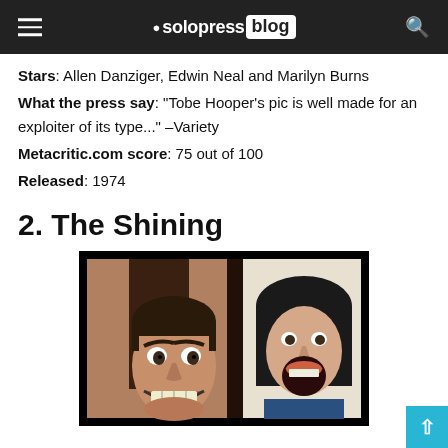solopress blog
Stars: Allen Danziger, Edwin Neal and Marilyn Burns
What the press say: "Tobe Hooper's pic is well made for an exploiter of its type..." –Variety
Metacritic.com score: 75 out of 100
Released: 1974
2. The Shining
[Figure (photo): Scene from The Shining showing Jack Nicholson grinning through a broken door on the left and a screaming woman on the right]